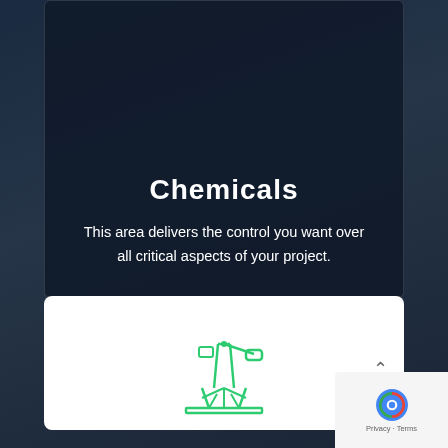Chemicals
This area delivers the control you want over all critical aspects of your project.
[Figure (illustration): Green line-art icon of an oil pump jack / petroleum refinery derrick]
Petrolium Refinery
A good owner’s rep saves their client time, money and a lot of headaches.